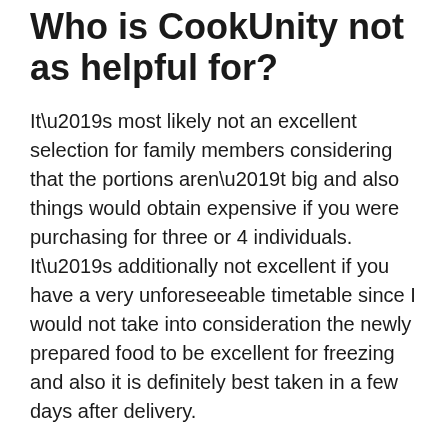Who is CookUnity not as helpful for?
It’s most likely not an excellent selection for family members considering that the portions aren’t big and also things would obtain expensive if you were purchasing for three or 4 individuals. It’s additionally not excellent if you have a very unforeseeable timetable since I would not take into consideration the newly prepared food to be excellent for freezing and also it is definitely best taken in a few days after delivery.
The last judgment on CookUnity.